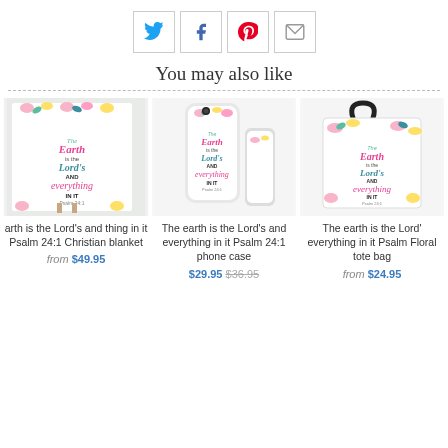[Figure (infographic): Social media share buttons: Twitter (blue bird), Facebook (f), Pinterest (red P), Email (envelope icon), each in a light bordered square box]
You may also like
[Figure (photo): Floral Christian blanket with text 'The earth is the Lord's and everything in it Psalm 24:1']
arth is the Lord's and thing in it Psalm 24:1 Christian blanket
from $49.95
[Figure (photo): Floral phone case with text 'The earth is the Lord's and everything in it Psalm 24:1']
The earth is the Lord's and everything in it Psalm 24:1 phone case
$29.95 $36.95
[Figure (photo): Floral tote bag with black handles and text 'The earth is the Lord's and everything in it Psalm 24:1']
The earth is the Lord' everything in it Psalm Floral tote bag
from $24.95